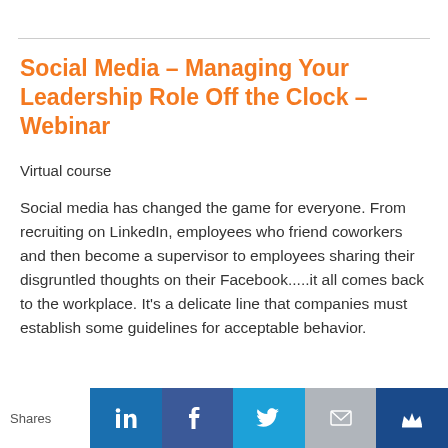Social Media – Managing Your Leadership Role Off the Clock – Webinar
Virtual course
Social media has changed the game for everyone. From recruiting on LinkedIn, employees who friend coworkers and then become a supervisor to employees sharing their disgruntled thoughts on their Facebook.....it all comes back to the workplace. It's a delicate line that companies must establish some guidelines for acceptable behavior.
Learn more ›
Shares | LinkedIn | Facebook | Twitter | Email | Crown